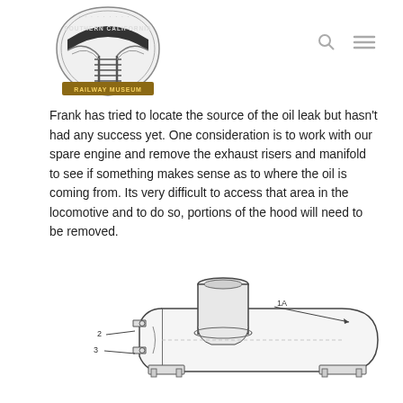Southern California Railway Museum
Frank has tried to locate the source of the oil leak but hasn't had any success yet. One consideration is to work with our spare engine and remove the exhaust risers and manifold to see if something makes sense as to where the oil is coming from. Its very difficult to access that area in the locomotive and to do so, portions of the hood will need to be removed.
[Figure (engineering-diagram): Engineering diagram of an exhaust manifold/muffler assembly with labeled parts including part 1A, 2, and 3. Shows a cylindrical exhaust stack on top of a curved manifold housing with mounting flanges.]